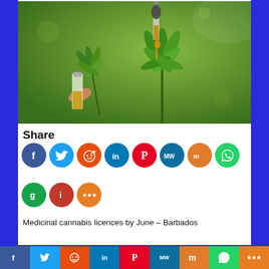[Figure (photo): A dropper bottle containing golden cannabis/CBD oil being held, with a cannabis leaf plant in the background, green bokeh background]
Share
[Figure (infographic): Social media share buttons: Facebook (blue), Twitter (light blue), Reddit (orange-red), LinkedIn (blue), Pinterest (red), MeWe (dark blue), Mix (orange), WhatsApp (green), Parler (dark red). Second row: Gab (green), Instapaper (red), More (orange)]
Medicinal cannabis licences by June – Barbados
[Figure (infographic): Bottom social sharing bar with Facebook, Twitter, Reddit, LinkedIn, Pinterest, MeWe, Mix, WhatsApp, More buttons]